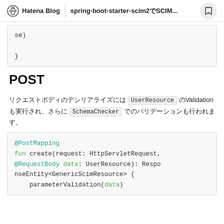Hatena Blog | spring-boot-starter-scim2でSCIM...
se)
}
POST
リクエストボディのデシリアライズには UserResource のValidationも実行され、さらに SchemaChecker でのバリデーションも行われます。
@PostMapping
fun create(request: HttpServletRequest,
@RequestBody data: UserResource): ResponseEntity<GenericScimResource> {
    parameterValidation(data)